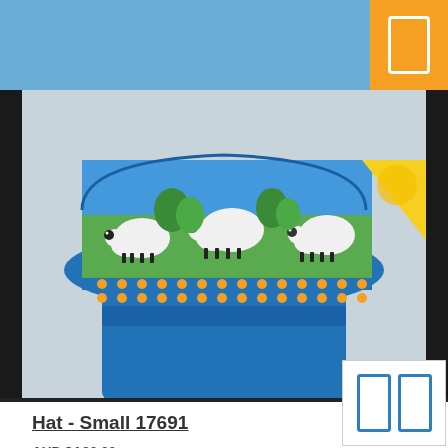[Figure (photo): Knitted blue hat with sheep pattern (boucle wool) featuring white sheep on green grass against a blue sky background, with an orange/yellow stripe accent. A yellow tag is visible in the upper right corner.]
Hat - Small 17691
AUD $A23.00
37cm around
13 1/2cm deep
Boucle wool sheep
ADD TO CART